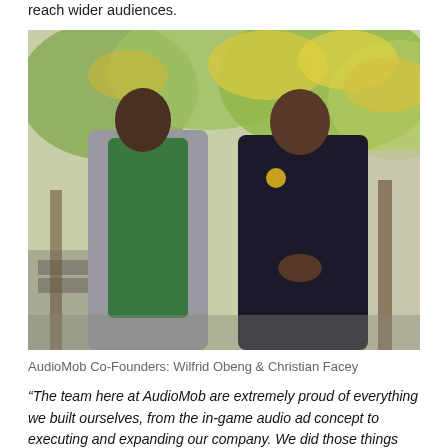reach wider audiences.
[Figure (photo): Two men standing outdoors in front of autumn trees. The man on the left wears a plaid coat over a green hoodie. The man on the right wears a dark bomber jacket with a gold badge. Urban background with trees and buildings.]
AudioMob Co-Founders: Wilfrid Obeng & Christian Facey
“The team here at AudioMob are extremely proud of everything we built ourselves, from the in-game audio ad concept to executing and expanding our company. We did those things